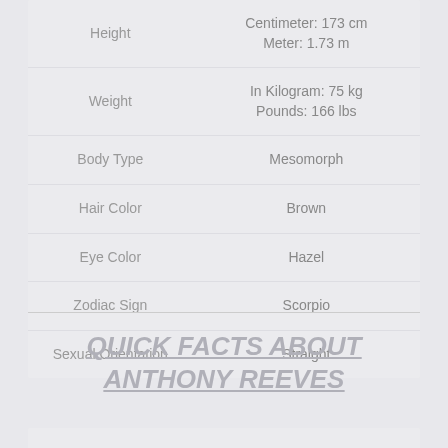| Attribute | Value |
| --- | --- |
| Height | Centimeter: 173 cm
Meter: 1.73 m |
| Weight | In Kilogram: 75 kg
Pounds: 166 lbs |
| Body Type | Mesomorph |
| Hair Color | Brown |
| Eye Color | Hazel |
| Zodiac Sign | Scorpio |
| Sexual Orientation | Straight |
QUICK FACTS ABOUT ANTHONY REEVES